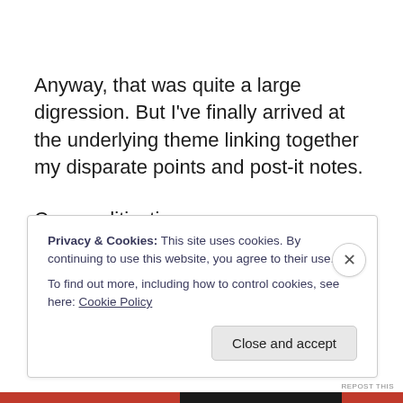Anyway, that was quite a large digression. But I've finally arrived at the underlying theme linking together my disparate points and post-it notes.
Commoditisation.
By taking our time, by taking a step back, by seeking advice and inspiration, we bring more thought to the
Privacy & Cookies: This site uses cookies. By continuing to use this website, you agree to their use.
To find out more, including how to control cookies, see here: Cookie Policy
Close and accept